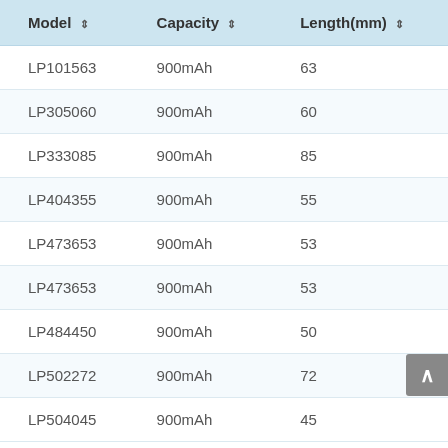| Model | Capacity | Length(mm) |
| --- | --- | --- |
| LP101563 | 900mAh | 63 |
| LP305060 | 900mAh | 60 |
| LP333085 | 900mAh | 85 |
| LP404355 | 900mAh | 55 |
| LP473653 | 900mAh | 53 |
| LP473653 | 900mAh | 53 |
| LP484450 | 900mAh | 50 |
| LP502272 | 900mAh | 72 |
| LP504045 | 900mAh | 45 |